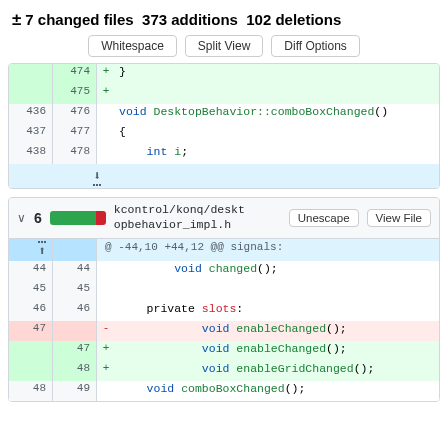± 7 changed files 373 additions 102 deletions
Whitespace | Split View | Diff Options
474 + }
475 +
436 476     void DesktopBehavior::comboBoxChanged()
437 477     {
438 478         int i;
kcontrol/konq/desktopbehavior_impl.h
@ -44,10 +44,12 @@ signals:
44 44     void changed();
45 45
46 46     private slots:
47     -         void enableChanged();
   47 +         void enableChanged();
   48 +         void enableGridChanged();
48 49     void comboBoxChanged();